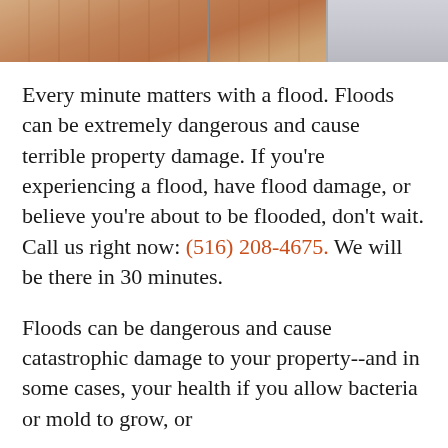[Figure (photo): Partial photo of a flooded interior floor with water damage, warm/orange tones, a window or wall visible at top right.]
Every minute matters with a flood. Floods can be extremely dangerous and cause terrible property damage. If you're experiencing a flood, have flood damage, or believe you're about to be flooded, don't wait. Call us right now: (516) 208-4675. We will be there in 30 minutes.
Floods can be dangerous and cause catastrophic damage to your property--and in some cases, your health if you allow bacteria or mold to grow, or